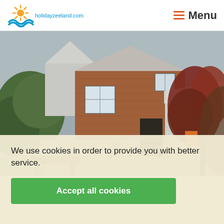holidayzeeland.com  Menu
[Figure (photo): Exterior photo of a brick farmhouse/holiday home with a garden terrace, outdoor table and chairs, red-leafed tree on the right, white annex with glass roof on the right side, overcast sky.]
We use cookies in order to provide you with better service.
Accept all cookies